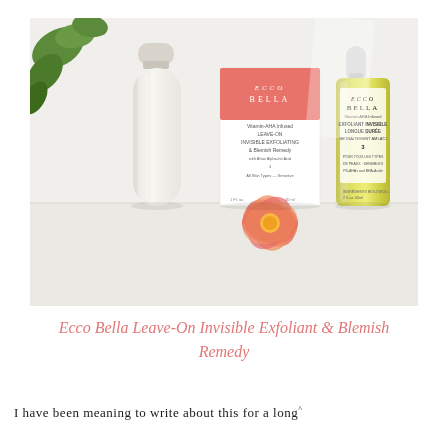[Figure (photo): Photo of Ecco Bella Leave-On Invisible Exfoliant & Blemish Remedy products: a tall white cylindrical bottle on the left, a product box in the center with coral/red top and a pink flower, and a small yellow dropper bottle on the right, all on a white shelf surface with a plant visible in the top-left corner.]
Ecco Bella Leave-On Invisible Exfoliant & Blemish Remedy
I have been meaning to write about this for a long